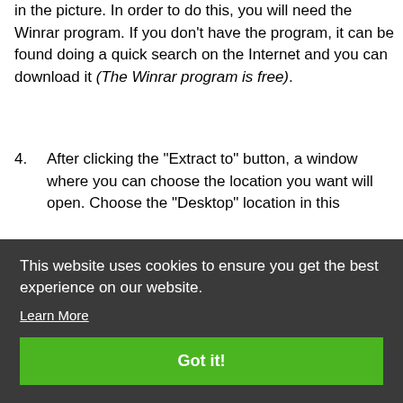in the picture. In order to do this, you will need the Winrar program. If you don't have the program, it can be found doing a quick search on the Internet and you can download it (The Winrar program is free).
4. After clicking the "Extract to" button, a window where you can choose the location you want will open. Choose the "Desktop" location in this
to
[Figure (screenshot): Cookie consent banner overlay with dark background. Text reads: 'This website uses cookies to ensure you get the best experience on our website.' with a 'Learn More' link and a green 'Got it!' button.]